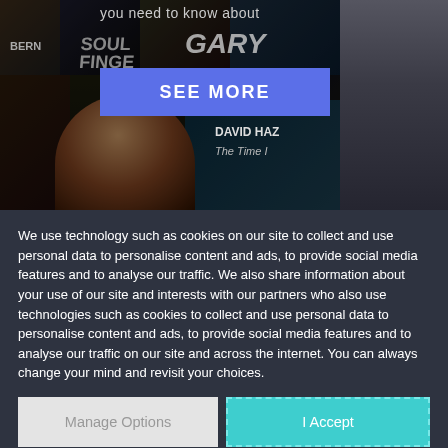[Figure (screenshot): Music album collage showing various album covers including artists like Gary Burton, David Haz, with a 'SEE MORE' blue button overlay and text 'you need to know about' at the top. A woman with curly hair is visible in the lower portion of the collage.]
We use technology such as cookies on our site to collect and use personal data to personalise content and ads, to provide social media features and to analyse our traffic. We also share information about your use of our site and interests with our partners who also use technologies such as cookies to collect and use personal data to personalise content and ads, to provide social media features and to analyse our traffic on our site and across the internet. You can always change your mind and revisit your choices.
Manage Options
I Accept